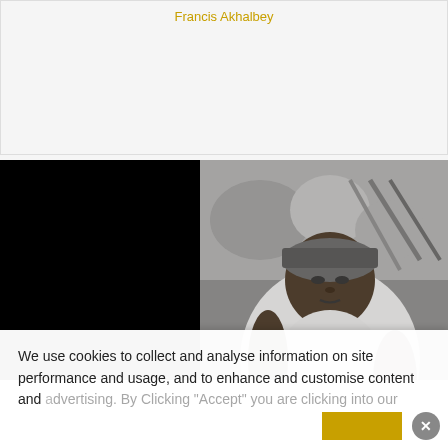Francis Akhalbey
[Figure (photo): Black and white photograph of a woman wearing a head wrap and patterned clothing, seated against a textured background. The image has black bars on the left and right sides.]
We use cookies to collect and analyse information on site performance and usage, and to enhance and customise content and advertising. By Clicking "Accept" you are clicking into our...